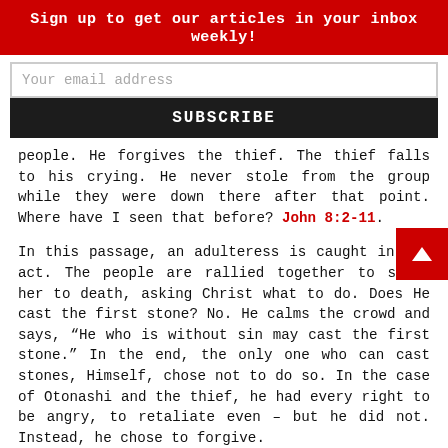Sign up to get our articles in your inbox weekly!
Your email address
SUBSCRIBE
people. He forgives the thief. The thief falls to his crying. He never stole from the group while they were down there after that point. Where have I seen that before? John 8:2-11.
In this passage, an adulteress is caught in the act. The people are rallied together to stone her to death, asking Christ what to do. Does He cast the first stone? No. He calms the crowd and says, “He who is without sin may cast the first stone.” In the end, the only one who can cast stones, Himself, chose not to do so. In the case of Otonashi and the thief, he had every right to be angry, to retaliate even – but he did not. Instead, he chose to forgive.